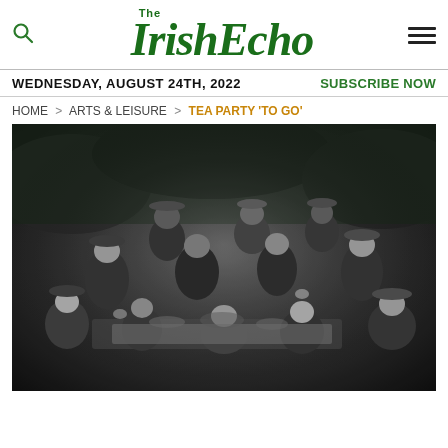The Irish Echo
WEDNESDAY, AUGUST 24TH, 2022 | SUBSCRIBE NOW
HOME > ARTS & LEISURE > TEA PARTY 'TO GO'
[Figure (photo): Vintage black and white photograph of a group of people (men and women in late Victorian/Edwardian era clothing and hats) gathered around a table set for a tea party outdoors, surrounded by hedges or bushes. Some are seated, some standing. Cups and food items visible on the table.]